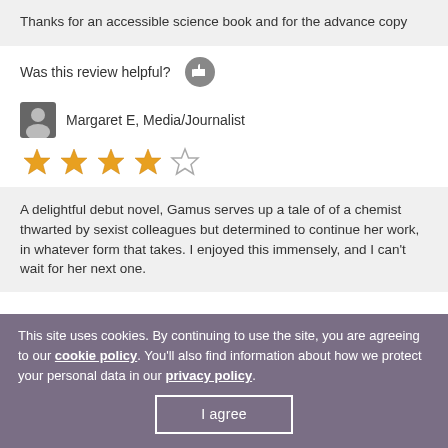Thanks for an accessible science book and for the advance copy
Was this review helpful?
Margaret E, Media/Journalist
[Figure (other): 4 out of 5 stars rating]
A delightful debut novel, Gamus serves up a tale of of a chemist thwarted by sexist colleagues but determined to continue her work, in whatever form that takes. I enjoyed this immensely, and I can't wait for her next one.
This site uses cookies. By continuing to use the site, you are agreeing to our cookie policy. You'll also find information about how we protect your personal data in our privacy policy.
I agree